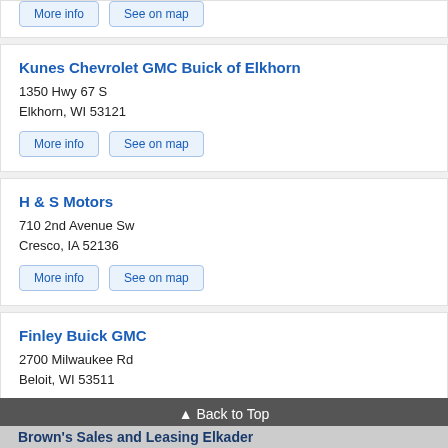More info | See on map (partial top card buttons)
Kunes Chevrolet GMC Buick of Elkhorn
1350 Hwy 67 S
Elkhorn, WI 53121
More info | See on map
H & S Motors
710 2nd Avenue Sw
Creco, IA 52136
More info | See on map
Finley Buick GMC
2700 Milwaukee Rd
Beloit, WI 53511
More info | See on map
▲ Back to Top
Brown's Sales and Leasing Elkader